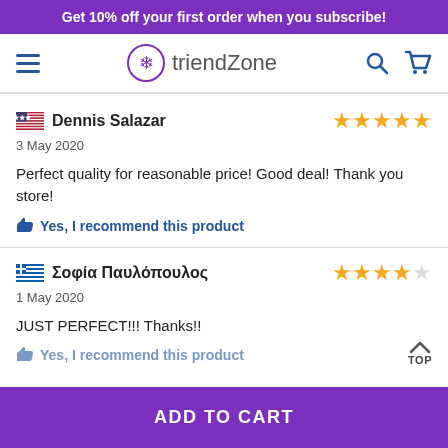Get 10% off your first order when you subscribe!
[Figure (logo): triendZone logo with snowflake icon, hamburger menu, search and cart icons]
Dennis Salazar — 5 stars — 3 May 2020 — Perfect quality for reasonable price! Good deal! Thank you store! — Yes, I recommend this product
Σοφία Παυλόπουλος — 4 stars — 1 May 2020 — JUST PERFECT!!! Thanks!! — Yes, I recommend this product
ADD TO CART